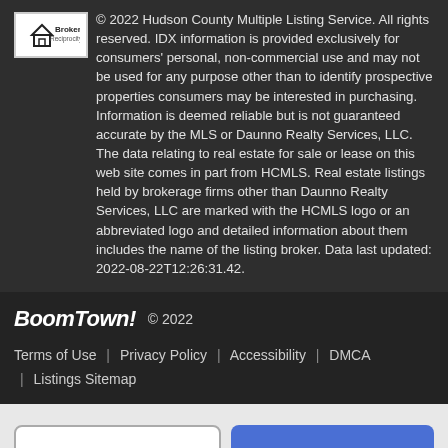© 2022 Hudson County Multiple Listing Service. All rights reserved. IDX information is provided exclusively for consumers' personal, non-commercial use and may not be used for any purpose other than to identify prospective properties consumers may be interested in purchasing. Information is deemed reliable but is not guaranteed accurate by the MLS or Daunno Realty Services, LLC. The data relating to real estate for sale or lease on this web site comes in part from HCMLS. Real estate listings held by brokerage firms other than Daunno Realty Services, LLC are marked with the HCMLS logo or an abbreviated logo and detailed information about them includes the name of the listing broker. Data last updated: 2022-08-22T12:26:31.42.
BoomTown! © 2022
Terms of Use | Privacy Policy | Accessibility | DMCA | Listings Sitemap
Take a Tour
Ask A Question